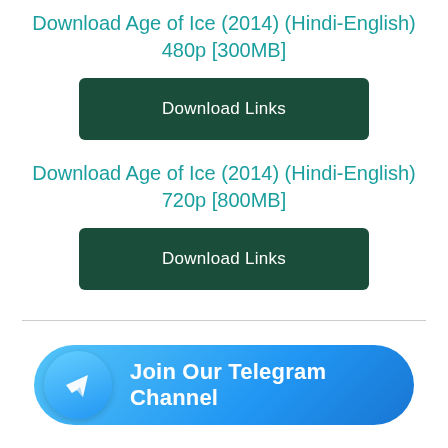Download Age of Ice (2014) (Hindi-English) 480p [300MB]
[Figure (other): Green download button labeled 'Download Links']
Download Age of Ice (2014) (Hindi-English) 720p [800MB]
[Figure (other): Green download button labeled 'Download Links']
[Figure (other): Telegram channel join button with Telegram logo icon and text 'Join Our Telegram Channel']